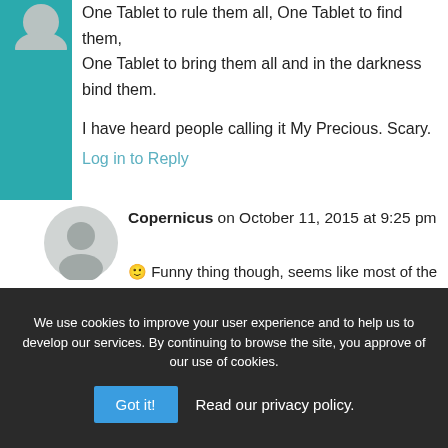One Tablet to rule them all, One Tablet to find them,
One Tablet to bring them all and in the darkness bind them.

I have heard people calling it My Precious. Scary.
Log in to Reply
Copernicus on October 11, 2015 at 9:25 pm
🙂 Funny thing though, seems like most of the folks posting here are ready to chuck the thing right into Orodruin as
We use cookies to improve your user experience and to help us to develop our services. By continuing to browse the site, you approve of our use of cookies.
Got it!
Read our privacy policy.